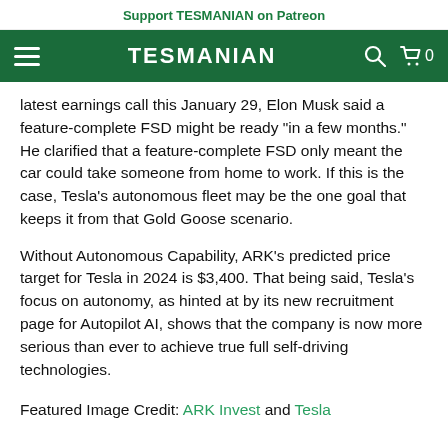Support TESMANIAN on Patreon
TESMANIAN
latest earnings call this January 29, Elon Musk said a feature-complete FSD might be ready "in a few months." He clarified that a feature-complete FSD only meant the car could take someone from home to work. If this is the case, Tesla's autonomous fleet may be the one goal that keeps it from that Gold Goose scenario.
Without Autonomous Capability, ARK's predicted price target for Tesla in 2024 is $3,400. That being said, Tesla's focus on autonomy, as hinted at by its new recruitment page for Autopilot AI, shows that the company is now more serious than ever to achieve true full self-driving technologies.
Featured Image Credit: ARK Invest and Tesla